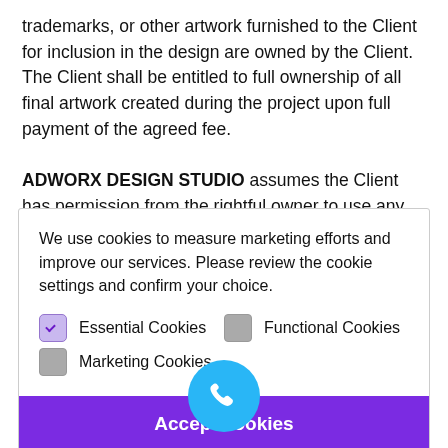trademarks, or other artwork furnished to the Client for inclusion in the design are owned by the Client.  The Client shall be entitled to full ownership of all final artwork created during the project upon full payment of the agreed fee.
ADWORX DESIGN STUDIO assumes the Client has permission from the rightful owner to use any code, scripts, data, and
We use cookies to measure marketing efforts and improve our services. Please review the cookie settings and confirm your choice.
Essential Cookies
Functional Cookies
Marketing Cookies
Accept cookies
Confirm choice
Privacy Policy